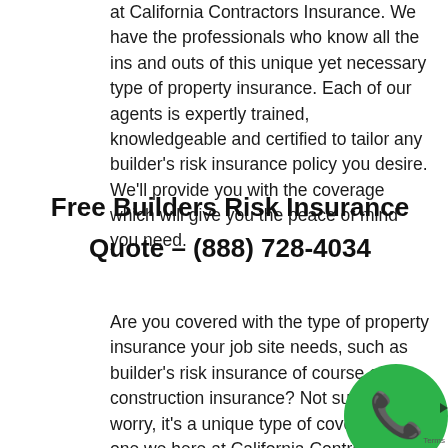at California Contractors Insurance. We have the professionals who know all the ins and outs of this unique yet necessary type of property insurance. Each of our agents is expertly trained, knowledgeable and certified to tailor any builder's risk insurance policy you desire. We'll provide you with the coverage which will give you the peace of mind you need.
Free Builders Risk Insurance Quote – (888) 728-4034
Are you covered with the type of property insurance your job site needs, such as builder's risk insurance of course of construction insurance? Not sure? Don't worry, it's a unique type of coverage but one we here at California Contractors Insurance company can provide
[Figure (illustration): Green circle with white phone handset icon, partially visible in bottom-right corner]